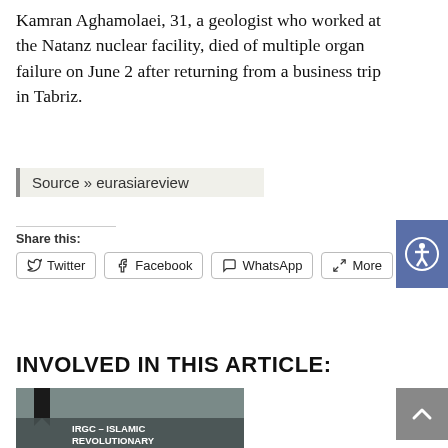Kamran Aghamolaei, 31, a geologist who worked at the Natanz nuclear facility, died of multiple organ failure on June 2 after returning from a business trip in Tabriz.
Source » eurasiareview
Share this:
Twitter  Facebook  WhatsApp  More
INVOLVED IN THIS ARTICLE:
[Figure (illustration): Thumbnail image with bookmark icon and text overlay reading 'IRGC – ISLAMIC REVOLUTIONARY GUARD CORPS' on a grey background with stylized illustration]
[Figure (other): Blue accessibility icon button (person in circle) on blue/purple background]
[Figure (other): Grey scroll-to-top button with caret/chevron symbol]